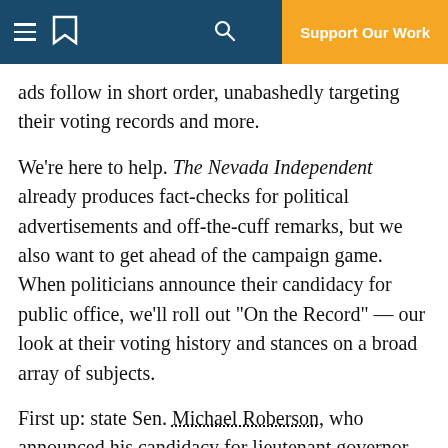Support Our Work
ads follow in short order, unabashedly targeting their voting records and more.
We're here to help. The Nevada Independent already produces fact-checks for political advertisements and off-the-cuff remarks, but we also want to get ahead of the campaign game. When politicians announce their candidacy for public office, we'll roll out "On the Record" — our look at their voting history and stances on a broad array of subjects.
First up: state Sen. Michael Roberson, who announced his candidacy for lieutenant governor on Monday.
Taxes: Roberson had signed a no-new-taxes pledge in 2010 at a Tea Party rally, writing that “I will stand with you as a consistently clear voice for smaller government, lower taxes and more freedom.” He remained on the Americans for Tax Reform list until at